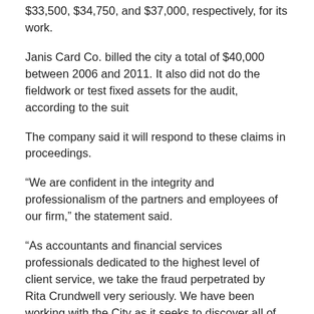$33,500, $34,750, and $37,000, respectively, for its work.
Janis Card Co. billed the city a total of $40,000 between 2006 and 2011. It also did not do the fieldwork or test fixed assets for the audit, according to the suit
The company said it will respond to these claims in proceedings.
“We are confident in the integrity and professionalism of the partners and employees of our firm,” the statement said.
“As accountants and financial services professionals dedicated to the highest level of client service, we take the fraud perpetrated by Rita Crundwell very seriously. We have been working with the City as it seeks to discover all of the facts that will describe what has happened in this case.
“CliftonLarsonAllen is one of the most respected firms in the country and we are committed to continuously